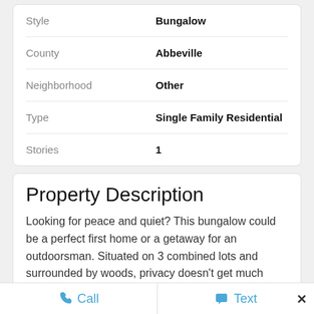| Field | Value |
| --- | --- |
| Style | Bungalow |
| County | Abbeville |
| Neighborhood | Other |
| Type | Single Family Residential |
| Stories | 1 |
Property Description
Looking for peace and quiet? This bungalow could be a perfect first home or a getaway for an outdoorsman. Situated on 3 combined lots and surrounded by woods, privacy doesn't get much
Call   Text